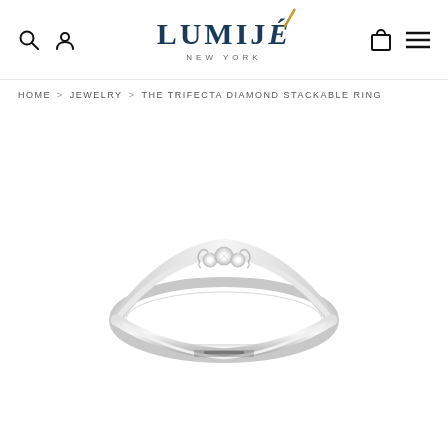LUMIJÉ NEW YORK — Navigation header with search, account, cart, and menu icons
HOME > JEWELRY > THE TRIFECTA DIAMOND STACKABLE RING
[Figure (photo): A delicate silver/white gold stackable ring photographed on a white background. The ring features three small diamonds set in the center top of a thin, elegant band.]